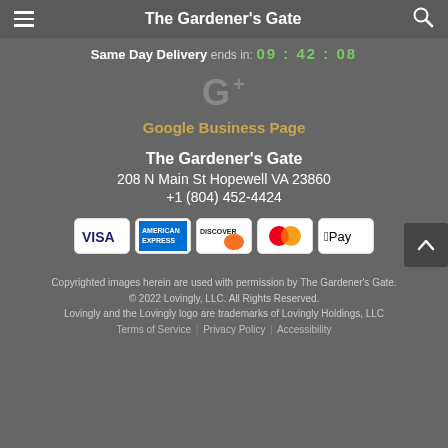The Gardener's Gate
Same Day Delivery ends in: 09 : 42 : 08
[Figure (logo): Google+ logo icon (G+) in gray]
Google Business Page
The Gardener's Gate
208 N Main St Hopewell VA 23860
+1 (804) 452-4424
[Figure (other): Payment method icons: Visa, American Express, Discover, Mastercard, Apple Pay]
Copyrighted images herein are used with permission by The Gardener's Gate.
© 2022 Lovingly, LLC. All Rights Reserved.
Lovingly and the Lovingly logo are trademarks of Lovingly Holdings, LLC
Terms of Service | Privacy Policy | Accessibility